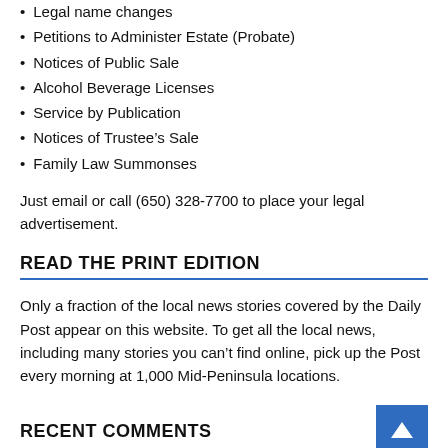Legal name changes
Petitions to Administer Estate (Probate)
Notices of Public Sale
Alcohol Beverage Licenses
Service by Publication
Notices of Trustee's Sale
Family Law Summonses
Just email or call (650) 328-7700 to place your legal advertisement.
READ THE PRINT EDITION
Only a fraction of the local news stories covered by the Daily Post appear on this website. To get all the local news, including many stories you can't find online, pick up the Post every morning at 1,000 Mid-Peninsula locations.
RECENT COMMENTS
PAIGE ON Sobrato, Grove among the big names fighting anti